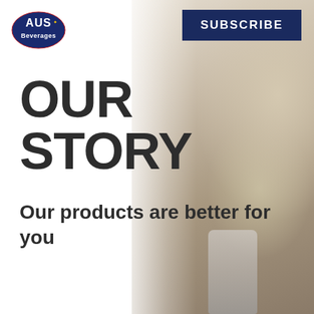[Figure (logo): AUS Beverages logo — oval badge with 'AUS' text and 'Beverages' text, blue and red colors]
SUBSCRIBE
OUR STORY
Our products are better for you
[Figure (photo): Background photo showing a woman with long blonde hair from behind, and a glass bottle at the bottom, fading from right with white overlay on the left]